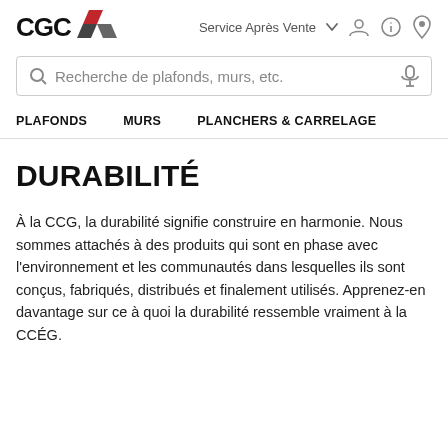CGC  Service Après Vente
Recherche de plafonds, murs, etc.
PLAFONDS  MURS  PLANCHERS & CARRELAGE
DURABILITÉ
À la CCG, la durabilité signifie construire en harmonie. Nous sommes attachés à des produits qui sont en phase avec l'environnement et les communautés dans lesquelles ils sont conçus, fabriqués, distribués et finalement utilisés. Apprenez-en davantage sur ce à quoi la durabilité ressemble vraiment à la CCÉG.